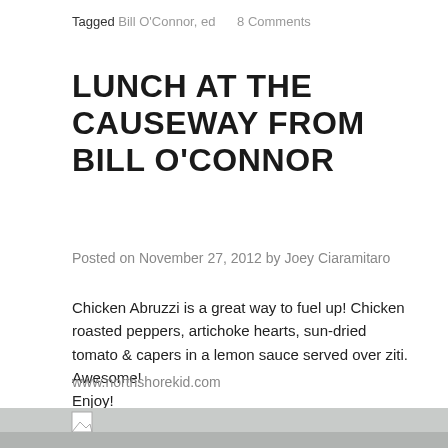Tagged Bill O'Connor, ed    8 Comments
LUNCH AT THE CAUSEWAY FROM BILL O'CONNOR
Posted on November 27, 2012 by Joey Ciaramitaro
Chicken Abruzzi is a great way to fuel up! Chicken roasted peppers, artichoke hearts, sun-dried tomato & capers in a lemon sauce served over ziti. Awesome!
Enjoy!
www.northshorekid.com
[Figure (photo): Photo of food from Causeway restaurant, partially visible at bottom of page]